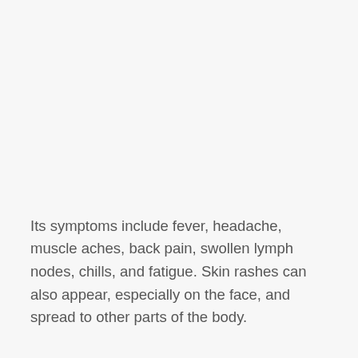Its symptoms include fever, headache, muscle aches, back pain, swollen lymph nodes, chills, and fatigue. Skin rashes can also appear, especially on the face, and spread to other parts of the body.